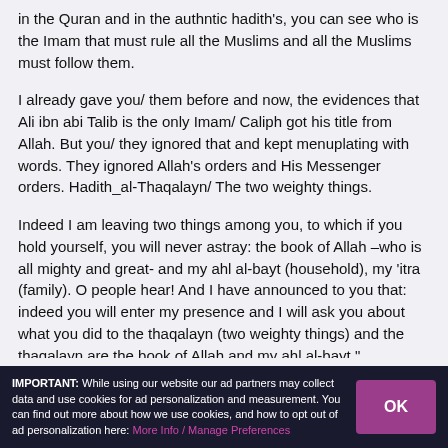in the Quran and in the authntic hadith's, you can see who is the Imam that must rule all the Muslims and all the Muslims must follow them.
I already gave you/ them before and now, the evidences that Ali ibn abi Talib is the only Imam/ Caliph got his title from Allah. But you/ they ignored that and kept menuplating with words. They ignored Allah's orders and His Messenger orders. Hadith_al-Thaqalayn/ The two weighty things.
Indeed I am leaving two things among you, to which if you hold yourself, you will never astray: the book of Allah –who is all mighty and great- and my ahl al-bayt (household), my 'itra (family). O people hear! And I have announced to you that: indeed you will enter my presence and I will ask you about what you did to the thaqalayn (two weighty things) and the thaqalayn are the book of Allah and my ahl al-bayt."
IMPORTANT: While using our website our ad partners may collect data and use cookies for ad personalization and measurement. You can find out more about how we use cookies, and how to opt out of ad personalization here: More Info / Manage Preferences